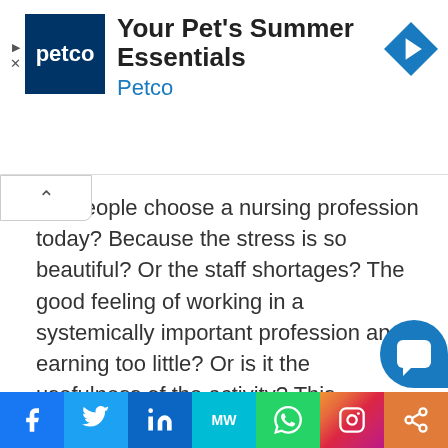[Figure (other): Petco advertisement banner with logo and 'Your Pet's Summer Essentials' heading]
ing people choose a nursing profession today? Because the stress is so beautiful? Or the staff shortages? The good feeling of working in a systemically important profession and earning too little? Or is it the usefulness of the activity? This discussion is about this, but especially about the questions of what shortcomings there are in training, what needs to change and to what extent the nursing emergency has been exacerbated by Corona.
[Figure (other): Social media share bar with Facebook, Twitter, LinkedIn, MW, WhatsApp, Instagram, and share buttons]